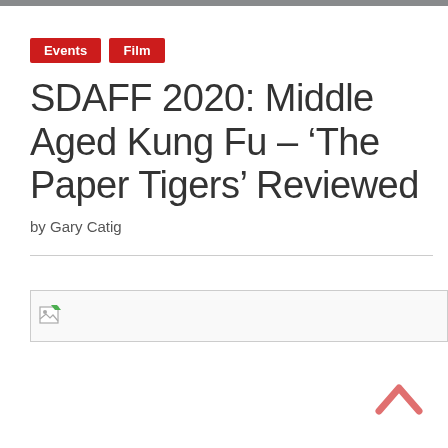Events
Film
SDAFF 2020: Middle Aged Kung Fu – ‘The Paper Tigers’ Reviewed
by Gary Catig
[Figure (other): Broken/missing image placeholder with small image icon in upper-left corner]
[Figure (other): Scroll-to-top chevron arrow button in salmon/red color at bottom-right corner]